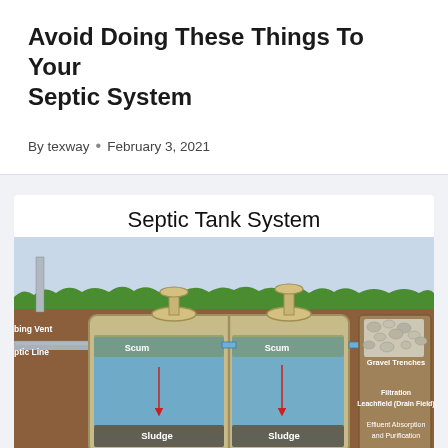Avoid Doing These Things To Your Septic System
By texway • February 3, 2021
[Figure (schematic): Diagram of a septic tank system showing a two-chamber septic tank with scum and sludge layers, connected to a drain field with gravel trenches, filtration leachfield, and effluent absorption and purification zone. Labels include: Plumbing Vent, Septic Line, Scum, Sludge, Septic Tank, Gravel Trenches, Filtration Leachfield (Drain Field), Effluent Absorption and Purification.]
Septic Tank System